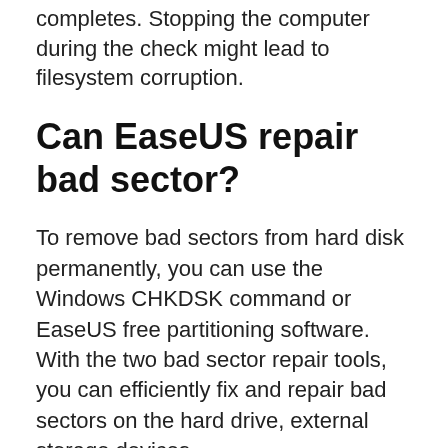completes. Stopping the computer during the check might lead to filesystem corruption.
Can EaseUS repair bad sector?
To remove bad sectors from hard disk permanently, you can use the Windows CHKDSK command or EaseUS free partitioning software. With the two bad sector repair tools, you can efficiently fix and repair bad sectors on the hard drive, external storage devices.
Can aomei repair bad sectors?